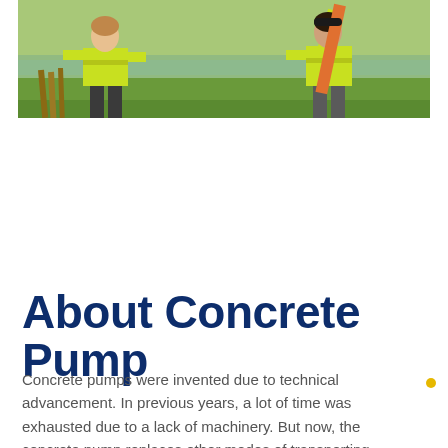[Figure (photo): Two construction workers wearing yellow high-visibility vests working outdoors on a green lawn. The left worker is handling wooden planks or stakes, the right worker is holding an orange pipe or pole. Background shows water and green grass.]
About Concrete Pump
Concrete pumps were invented due to technical advancement. In previous years, a lot of time was exhausted due to a lack of machinery. But now, the concrete pump replaces other modes of transporting